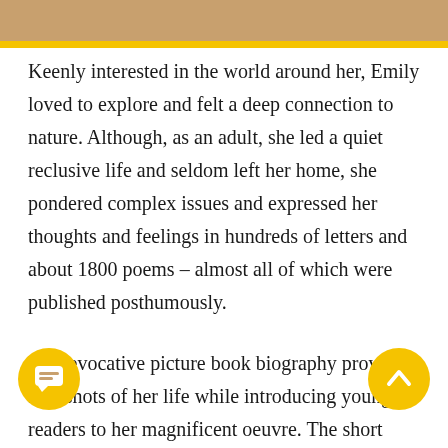Keenly interested in the world around her, Emily loved to explore and felt a deep connection to nature. Although, as an adult, she led a quiet reclusive life and seldom left her home, she pondered complex issues and expressed her thoughts and feelings in hundreds of letters and about 1800 poems – almost all of which were published posthumously.
This evocative picture book biography provides snapshots of her life while introducing young readers to her magnificent oeuvre. The short text, itself written in a simple, associative style emulating Emily's poetry, is [6]spersed with hand-lettered snippets of the famous American poet's contemplative verses. The gouache-and-